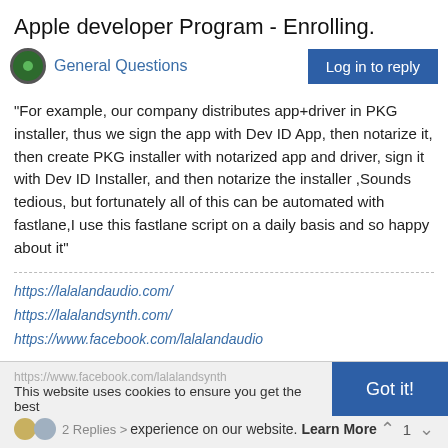Apple developer Program - Enrolling.
General Questions
"For example, our company distributes app+driver in PKG installer, thus we sign the app with Dev ID App, then notarize it, then create PKG installer with notarized app and driver, sign it with Dev ID Installer, and then notarize the installer ,Sounds tedious, but fortunately all of this can be automated with fastlane,I use this fastlane script on a daily basis and so happy about it"
https://lalalandaudio.com/
https://lalalandsynth.com/
https://www.facebook.com/lalalandaudio
https://www.facebook.com/lalalandsynth
This website uses cookies to ensure you get the best experience on our website. Learn More